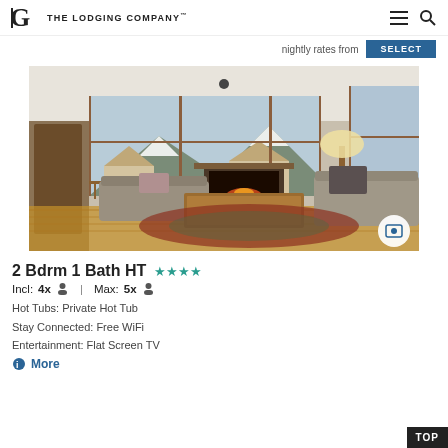The Lodging Company
nightly rates from   SELECT
[Figure (photo): Interior of a ski lodge living room with fireplace, large windows showing snowy mountain view, wood coffee table, gray sofas, patterned rug]
2 Bdrm 1 Bath HT ★★★★
Incl: 4x 👤  |  Max: 5x 👤
Hot Tubs: Private Hot Tub
Stay Connected: Free WiFi
Entertainment: Flat Screen TV
More